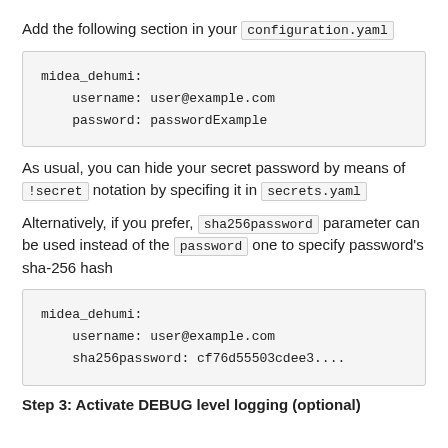Add the following section in your configuration.yaml
midea_dehumi:
  username: user@example.com
  password: passwordExample
As usual, you can hide your secret password by means of !secret notation by specifing it in secrets.yaml
Alternatively, if you prefer, sha256password parameter can be used instead of the password one to specify password's sha-256 hash
midea_dehumi:
  username: user@example.com
  sha256password: cf76d55503cdee3....
Step 3: Activate DEBUG level logging (optional)